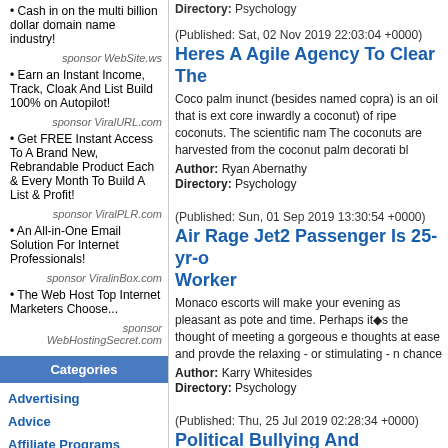Cash in on the multi billion dollar domain name industry!
sponsor WebSite.ws
Earn an Instant Income, Track, Cloak And List Build 100% on Autopilot!
sponsor ViralURL.com
Get FREE Instant Access To A Brand New, Rebrandable Product Each & Every Month To Build A List & Profit!
sponsor ViralPLR.com
An All-in-One Email Solution For Internet Professionals!
sponsor ViralinBox.com
The Web Host Top Internet Marketers Choose...
sponsor WebHostingSecret.com
Categories
Advertising
Advice
Affiliate Programs
Directory: Psychology
(Published: Sat, 02 Nov 2019 22:03:04 +0000)
Heres A Agile Agency To Clear The
Coco palm inunct (besides named copra) is an oil that is ext core inwardly a coconut) of ripe coconuts. The scientific na The coconuts are harvested from the coconut palm decorati bl
Author: Ryan Abernathy
Directory: Psychology
(Published: Sun, 01 Sep 2019 13:30:54 +0000)
Air Rage Jet2 Passenger Is 25-yr-o Worker
Monaco escorts will make your evening as pleasant as pote and time. Perhaps it's the thought of meeting a gorgeous e thoughts at ease and provde the relaxing - or stimulating - n chance
Author: Karry Whitesides
Directory: Psychology
(Published: Thu, 25 Jul 2019 02:28:34 +0000)
Political Bullying And Intimidation Elected Officials
If the groom has groomsmen coming in from out of city for th selecting a well-liked chain retailer like Men's Wearhouse, admitted that the adventure had been deliberate and witness